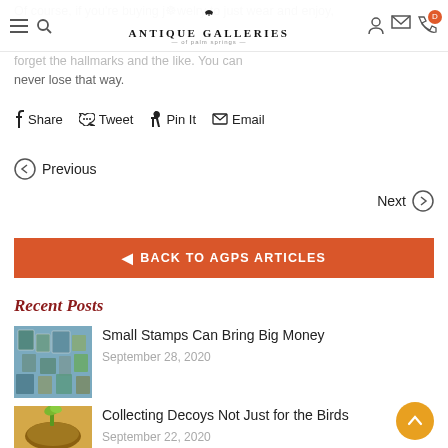ANTIQUE GALLERIES OF PALM SPRINGS — navigation header
Of course, if you're buying jewelry to just wear and enjoy, forget the hallmarks and the like. You can never lose that way.
Share  Tweet  Pin It  Email
◀ Previous
Next ▶
◀ BACK TO AGPS ARTICLES
Recent Posts
Small Stamps Can Bring Big Money
September 28, 2020
Collecting Decoys Not Just for the Birds
September 22, 2020